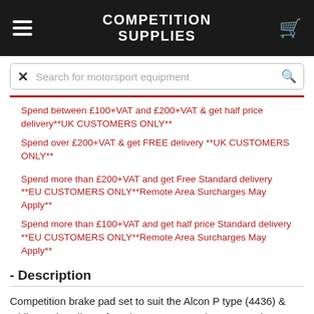COMPETITION SUPPLIES
Search for motorsport equipment
Spend between £100+VAT and £200+VAT & get half price delivery**UK CUSTOMERS ONLY**
Spend over £200+VAT & get FREE delivery **UK CUSTOMERS ONLY**
Spend more than £200+VAT and get Free Standard delivery **EU CUSTOMERS ONLY**Remote Area Surcharges May Apply**
Spend more than £100+VAT and get half price Standard delivery **EU CUSTOMERS ONLY**Remote Area Surcharges May Apply**
- Description
Competition brake pad set to suit the Alcon P type (4436) & Girling 16/4 calipers found on some Porsche, Maserati & Ferrari Models.
To the best of our knowledge these pads are suitable for the